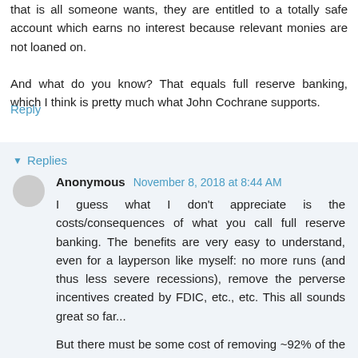that is all someone wants, they are entitled to a totally safe account which earns no interest because relevant monies are not loaned on.
And what do you know? That equals full reserve banking, which I think is pretty much what John Cochrane supports.
Reply
Replies
Anonymous  November 8, 2018 at 8:44 AM
I guess what I don't appreciate is the costs/consequences of what you call full reserve banking. The benefits are very easy to understand, even for a layperson like myself: no more runs (and thus less severe recessions), remove the perverse incentives created by FDIC, etc., etc. This all sounds great so far...
But there must be some cost of removing ~92% of the funds in my checking account from